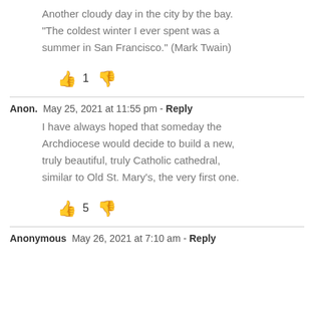Another cloudy day in the city by the bay. “The coldest winter I ever spent was a summer in San Francisco.” (Mark Twain)
👍 1 👎
Anon.  May 25, 2021 at 11:55 pm - Reply
I have always hoped that someday the Archdiocese would decide to build a new, truly beautiful, truly Catholic cathedral, similar to Old St. Mary’s, the very first one.
👍 5 👎
Anonymous  May 26, 2021 at 7:10 am - Reply